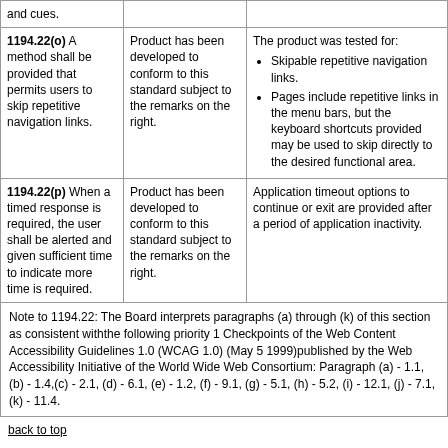| Criteria | Supporting Features | Remarks and Explanations |
| --- | --- | --- |
| and cues. |  |  |
| 1194.22(o) A method shall be provided that permits users to skip repetitive navigation links. | Product has been developed to conform to this standard subject to the remarks on the right. | The product was tested for:
• Skipable repetitive navigation links.
• Pages include repetitive links in the menu bars, but the keyboard shortcuts provided may be used to skip directly to the desired functional area. |
| 1194.22(p) When a timed response is required, the user shall be alerted and given sufficient time to indicate more time is required. | Product has been developed to conform to this standard subject to the remarks on the right. | Application timeout options to continue or exit are provided after a period of application inactivity. |
Note to 1194.22: The Board interprets paragraphs (a) through (k) of this section as consistent withthe following priority 1 Checkpoints of the Web Content Accessibility Guidelines 1.0 (WCAG 1.0) (May 5 1999)published by the Web Accessibility Initiative of the World Wide Web Consortium: Paragraph (a) - 1.1, (b) - 1.4,(c) - 2.1, (d) - 6.1, (e) - 1.2, (f) - 9.1, (g) - 5.1, (h) - 5.2, (i) - 12.1, (j) - 7.1, (k) - 11.4.
back to top